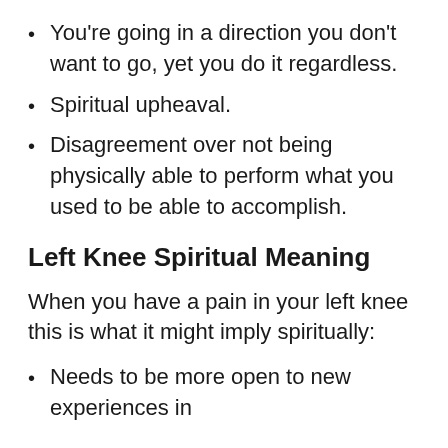You're going in a direction you don't want to go, yet you do it regardless.
Spiritual upheaval.
Disagreement over not being physically able to perform what you used to be able to accomplish.
Left Knee Spiritual Meaning
When you have a pain in your left knee this is what it might imply spiritually:
Needs to be more open to new experiences in
Unresolved anxiety.